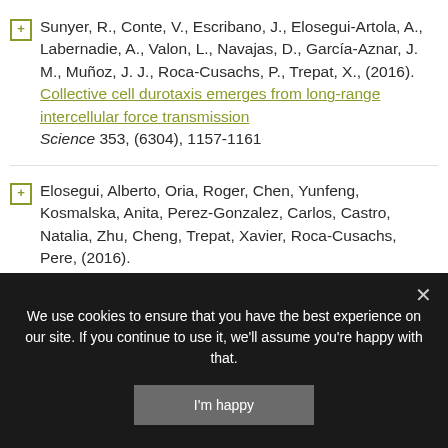Sunyer, R., Conte, V., Escribano, J., Elosegui-Artola, A., Labernadie, A., Valon, L., Navajas, D., García-Aznar, J. M., Muñoz, J. J., Roca-Cusachs, P., Trepat, X., (2016). Collective cell durotaxis emerges from long-range intercellular force transmission Science 353, (6304), 1157-1161
Elosegui, Alberto, Oria, Roger, Chen, Yunfeng, Kosmalska, Anita, Perez-Gonzalez, Carlos, Castro, Natalia, Zhu, Cheng, Trepat, Xavier, Roca-Cusachs, Pere, (2016). [Mechanobiological regulation of feedback-mediated...]
We use cookies to ensure that you have the best experience on our site. If you continue to use it, we'll assume you're happy with that.